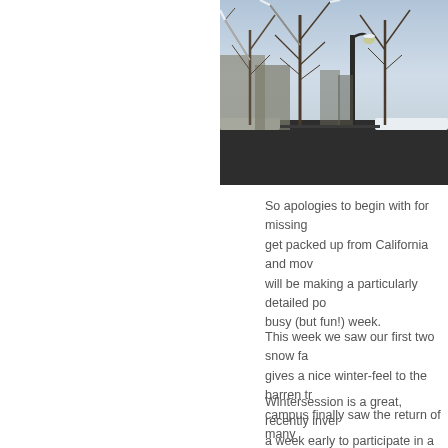[Figure (photo): Winter scene on a campus or urban pathway with snow-covered bare trees, a lamp post, and a cleared walkway]
So apologies to begin with for missing get packed up from California and mov will be making a particularly detailed po busy (but fun!) week.
This week we saw our first two snow fa gives a nice winter-feel to the barren tr campus finally saw the return of many
Wintersession is a great, recently inver a week early to participate in a number Everything from a one-day ski trip to a Harvard Alum and scriptwriter of Lost, a to participate in some great events tha